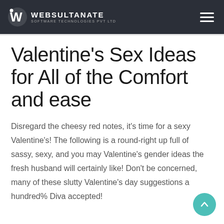WEBSULTANATE SOFTWARE TECHNOLOGIES PVT LTD
Valentine's Sex Ideas for All of the Comfort and ease
Disregard the cheesy red notes, it's time for a sexy Valentine's! The following is a round-right up full of sassy, sexy, and you may Valentine's gender ideas the fresh husband will certainly like! Don't be concerned, many of these slutty Valentine's day suggestions a hundred% Diva accepted!